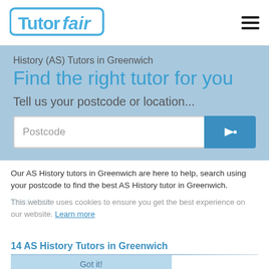[Figure (logo): TutorFair logo in blue with outlined box]
History (AS) Tutors in Greenwich
Find the right tutor for you
Tell us your postcode or location...
Our AS History tutors in Greenwich are here to help, search using your postcode to find the best AS History tutor in Greenwich.
Read more
This website uses cookies to ensure you get the best experience on our website. Learn more
14 AS History Tutors in Greenwich
Got it!
Bozena F